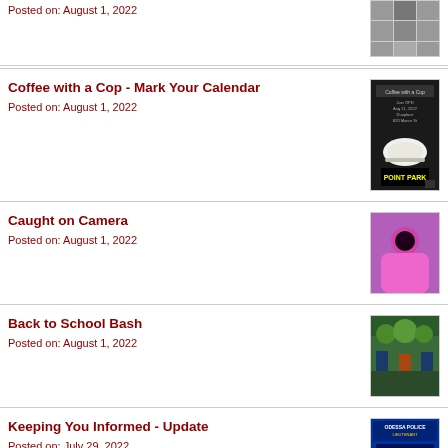Posted on: August 1, 2022
[Figure (photo): Grid of small photos thumbnail]
Coffee with a Cop - Mark Your Calendar
Posted on: August 1, 2022
[Figure (photo): Coffee with a Cop flyer showing a coffee cup and event details]
Caught on Camera
Posted on: August 1, 2022
[Figure (photo): Person in pink hoodie caught on surveillance camera]
Back to School Bash
Posted on: August 1, 2022
[Figure (photo): Back to School Bash event photo with people gathered]
Keeping You Informed - Update
Posted on: July 29, 2022
[Figure (photo): Odessa Police Keeping You Informed update flyer]
Select Langu...